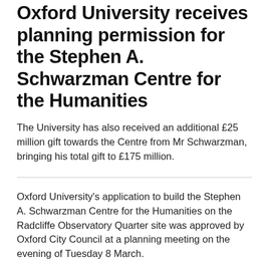Oxford University receives planning permission for the Stephen A. Schwarzman Centre for the Humanities
The University has also received an additional £25 million gift towards the Centre from Mr Schwarzman, bringing his total gift to £175 million.
Oxford University's application to build the Stephen A. Schwarzman Centre for the Humanities on the Radcliffe Observatory Quarter site was approved by Oxford City Council at a planning meeting on the evening of Tuesday 8 March.